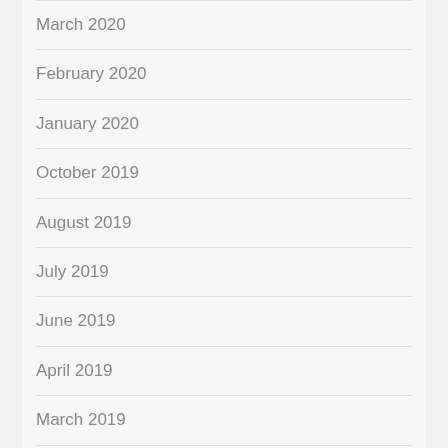March 2020
February 2020
January 2020
October 2019
August 2019
July 2019
June 2019
April 2019
March 2019
January 2019